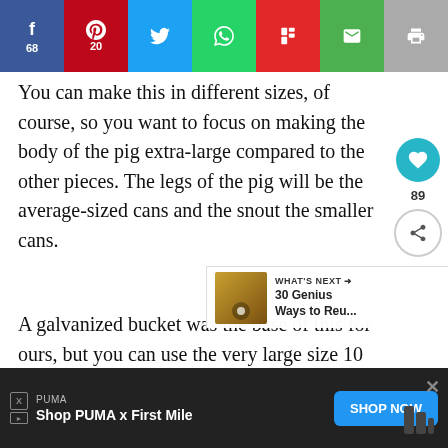[Figure (screenshot): Social media share bar with Facebook (68), Pinterest (20), Twitter, WhatsApp, Flipboard, Email, and Print buttons]
You can make this in different sizes, of course, so you want to focus on making the body of the pig extra-large compared to the other pieces.  The legs of the pig will be the average-sized cans and the snout the smaller cans.
A galvanized bucket was the base of this for ours, but you can use the very large size 10 cans that you find in the bulk of the grocery store.  Another option is to use an old gallon paint can.  This can also
[Figure (screenshot): What's Next overlay showing thumbnail and text '30 Genius Ways to Reu...']
[Figure (screenshot): PUMA advertisement bar: 'Shop PUMA x First Mile' with SHOP NOW button]